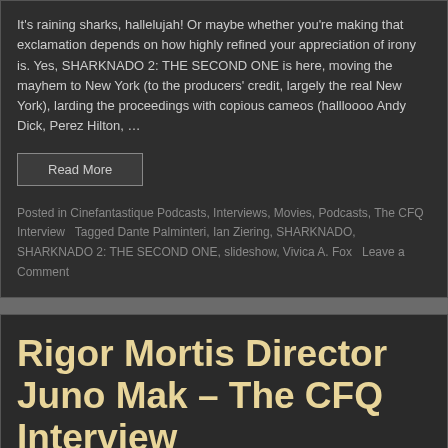It's raining sharks, hallelujah! Or maybe whether you're making that exclamation depends on how highly refined your appreciation of irony is. Yes, SHARKNADO 2: THE SECOND ONE is here, moving the mayhem to New York (to the producers' credit, largely the real New York), larding the proceedings with copious cameos (hallloooo Andy Dick, Perez Hilton, …
Read More
Posted in Cinefantastique Podcasts, Interviews, Movies, Podcasts, The CFQ Interview   Tagged Dante Palminteri, Ian Ziering, SHARKNADO, SHARKNADO 2: THE SECOND ONE, slideshow, Vivica A. Fox   Leave a Comment
Rigor Mortis Director Juno Mak – The CFQ Interview
Posted on July 3, 2014 by  Dan Persons
Even in the anything-to-get-your-adrenaline-pumping world of Hong Kong cinema, RIGOR MORTIS stands out. The story of a…